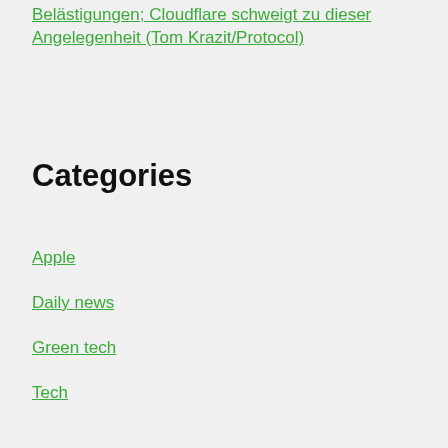Belästigungen; Cloudflare schweigt zu dieser Angelegenheit (Tom Krazit/Protocol)
Categories
Apple
Daily news
Green tech
Tech
trending
Home
Privacy Policy
Disclaimer